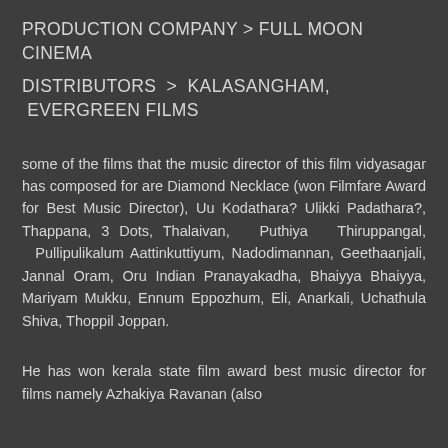PRODUCTION COMPANY > FULL MOON CINEMA
DISTRIBUTORS > KALASANGHAM, EVERGREEN FILMS
some of the films that the music director of this film vidyasagar has composed for are Diamond Necklace (won Filmfare Award for Best Music Director), Uu Kodathara? Ulikki Padathara?, Thappana, 3 Dots, Thalaivan, Puthiya Thiruppangal, Pullipulikalum Aattinkuttiyum, Nadodimannan, Geethaanjali, Jannal Oram, Oru Indian Pranayakadha, Bhaiyya Bhaiyya, Mariyam Mukku, Ennum Eppozhum, Eli, Anarkali, Uchathula Shiva, Thoppil Joppan.
He has won kerala state film award best music director for films namely Azhakiya Ravanan (also